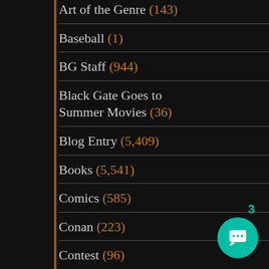Art of the Genre (143)
Baseball (1)
BG Staff (944)
Black Gate Goes to Summer Movies (36)
Blog Entry (5,409)
Books (5,541)
Comics (585)
Conan (223)
Contest (96)
Convention Report (263)
Discovering Robert E. Howard (57)